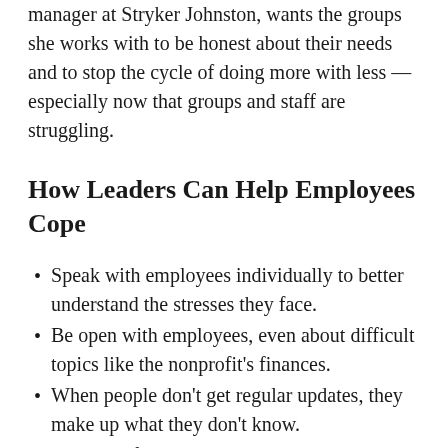manager at Stryker Johnston, wants the groups she works with to be honest about their needs and to stop the cycle of doing more with less — especially now that groups and staff are struggling.
How Leaders Can Help Employees Cope
Speak with employees individually to better understand the stresses they face.
Be open with employees, even about difficult topics like the nonprofit's finances.
When people don't get regular updates, they make up what they don't know.
Don't be afraid to say you don't know the answer to a question.
Find safe ways for staff to interact socially to bolster morale.
Small gestures, like extra time off or a surprise food delivery, can make employees feel like their